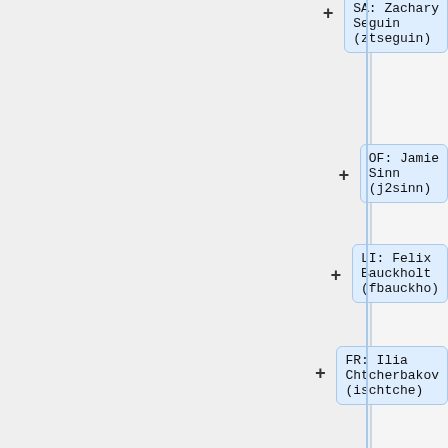SA: Zachary Seguin (ztseguin)
OF: Jamie Sinn (j2sinn)
LI: Felix Bauckholt (fbauckho)
FR: Ilia Chtcherbakov (ischtche)
= 2017 =
=== Winter ===